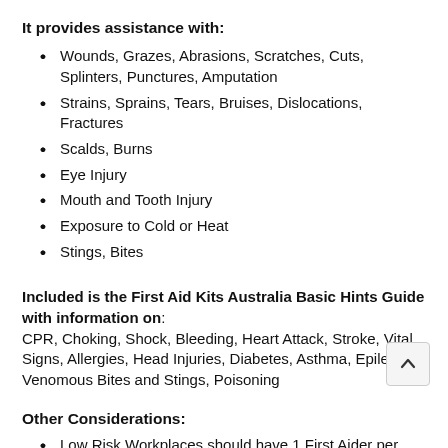It provides assistance with:
Wounds, Grazes, Abrasions, Scratches, Cuts, Splinters, Punctures, Amputation
Strains, Sprains, Tears, Bruises, Dislocations, Fractures
Scalds, Burns
Eye Injury
Mouth and Tooth Injury
Exposure to Cold or Heat
Stings, Bites
Included is the First Aid Kits Australia Basic Hints Guide with information on: CPR, Choking, Shock, Bleeding, Heart Attack, Stroke, Vital Signs, Allergies, Head Injuries, Diabetes, Asthma, Epilepsy, Venomous Bites and Stings, Poisoning
Other Considerations:
Low Risk Workplaces should have 1 First Aider per